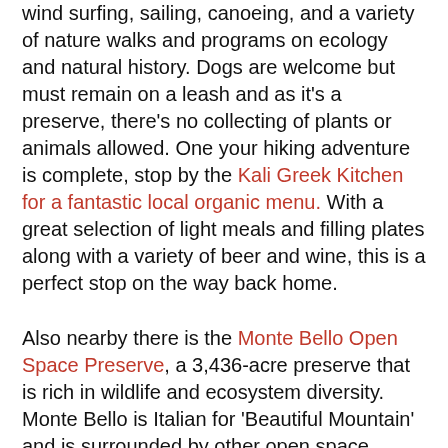wind surfing, sailing, canoeing, and a variety of nature walks and programs on ecology and natural history. Dogs are welcome but must remain on a leash and as it's a preserve, there's no collecting of plants or animals allowed. One your hiking adventure is complete, stop by the Kali Greek Kitchen for a fantastic local organic menu. With a great selection of light meals and filling plates along with a variety of beer and wine, this is a perfect stop on the way back home.
Also nearby there is the Monte Bello Open Space Preserve, a 3,436-acre preserve that is rich in wildlife and ecosystem diversity. Monte Bello is Italian for 'Beautiful Mountain' and is surrounded by other open space preserves and parks, making trip options nearly limitless. There are multiple hiking trails available, from a self-guided 3 mile loop with an average 5% grade that will take you